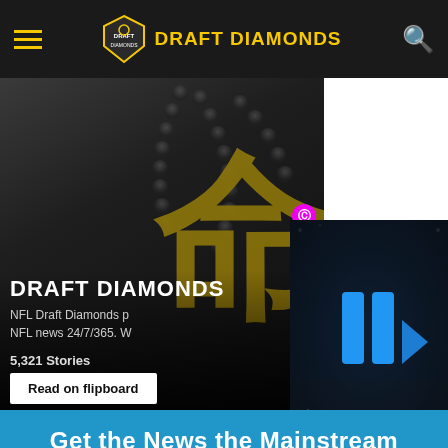DRAFT DIAMONDS
[Figure (screenshot): Hero image with dark background showing beads/prayer beads and a large yellow kanji character. Overlay text reads DRAFT DIAMONDS with subtext about NFL Draft Diamonds providing NFL news 24/7/365, 5,321 Stories, and a Read on flipboard button.]
[Figure (screenshot): Dark video panel on right side showing blue geometric play button icons on dark stadium background]
NFL Draft Diamonds p NFL news 24/7/365. W
5,321 Stories
Read on flipboard
Get the News the Mainstream